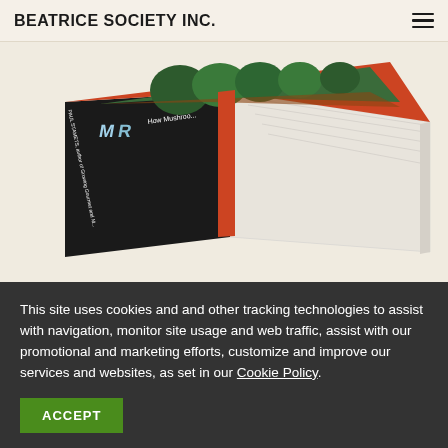BEATRICE SOCIETY INC.
[Figure (photo): A book photographed at an angle, showing the cover with trees/forest illustration and text 'How Mushroo...' and 'PAUL STAMETS, author of Growing Gourmet and M...' The cover has an orange/red spine and the pages are visible on the right side.]
This site uses cookies and and other tracking technologies to assist with navigation, monitor site usage and web traffic, assist with our promotional and marketing efforts, customize and improve our services and websites, as set in our Cookie Policy